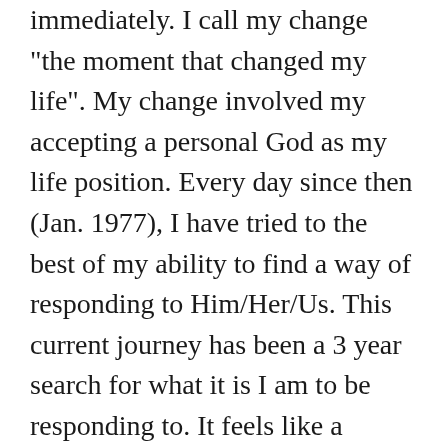immediately. I call my change "the moment that changed my life". My change involved my accepting a personal God as my life position. Every day since then (Jan. 1977), I have tried to the best of my ability to find a way of responding to Him/Her/Us. This current journey has been a 3 year search for what it is I am to be responding to. It feels like a Hansel and Gretel experience as I find little crumbs of “leads” propelling me forward. My God is an illusive one who fills my soul with joy from time to time and I want more.
From Broken Brain: Brilliant Mind: “Seeing the